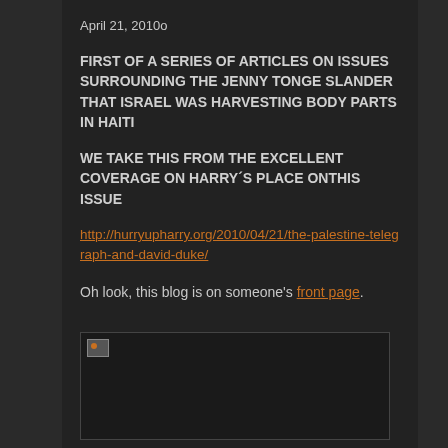April 21, 2010o
FIRST OF A SERIES OF ARTICLES ON ISSUES SURROUNDING THE JENNY TONGE SLANDER THAT ISRAEL WAS HARVESTING BODY PARTS IN HAITI
WE TAKE THIS FROM THE EXCELLENT COVERAGE ON HARRY´S PLACE ONTHIS ISSUE
http://hurryupharry.org/2010/04/21/the-palestine-telegraph-and-david-duke/
Oh look, this blog is on someone's front page.
[Figure (photo): Broken image placeholder in a dark rectangle]